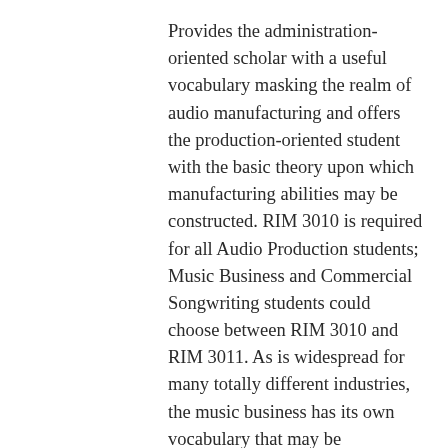Provides the administration-oriented scholar with a useful vocabulary masking the realm of audio manufacturing and offers the production-oriented student with the basic theory upon which manufacturing abilities may be constructed. RIM 3010 is required for all Audio Production students; Music Business and Commercial Songwriting students could choose between RIM 3010 and RIM 3011. As is widespread for many totally different industries, the music business has its own vocabulary that may be complicated to these outdoors of the business.